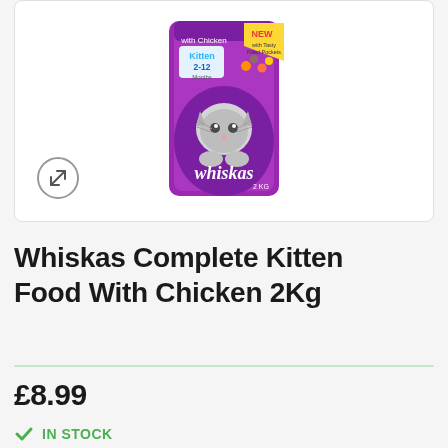[Figure (photo): Whiskas Complete Kitten Food With Chicken 2Kg purple bag product image. The bag features a kitten on the front, 'Kitten 2-12 Months' label, 'NEW with Tasty Filled Pockets' badge in yellow, 'with Chicken' text. A circular expand/zoom icon is visible at the bottom left of the image area.]
Whiskas Complete Kitten Food With Chicken 2Kg
£8.99
IN STOCK